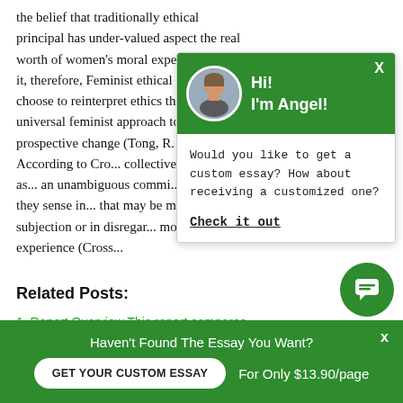the belief that traditionally ethical principal has undervalued aspect the real worth of women's moral experience and it, therefore, Feminist ethical approach choose to reinterpret ethics through a universal feminist approach to make a prospective change (Tong, R. a. 1998). According to Cro... collectively identified as... an unambiguous commi... prejudices they sense in... that may be manifest in t... subjection or in disregar... moral experience (Cross...
[Figure (screenshot): Chat popup widget with green header showing avatar photo of a man, greeting 'Hi! I'm Angel!', body text 'Would you like to get a custom essay? How about receiving a customized one?' with a 'Check it out' underlined link. Green X close button in top right.]
Related Posts:
Report Overview This report compares
[Figure (screenshot): Green chat bubble button with speech bubble icon in bottom right corner]
Haven't Found The Essay You Want?
GET YOUR CUSTOM ESSAY   For Only $13.90/page